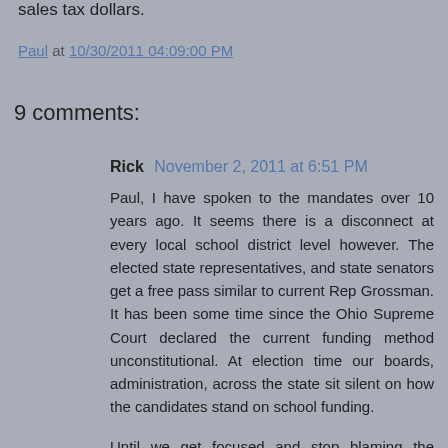sales tax dollars.
Paul at 10/30/2011 04:09:00 PM
9 comments:
Rick  November 2, 2011 at 6:51 PM
Paul, I have spoken to the mandates over 10 years ago. It seems there is a disconnect at every local school district level however. The elected state representatives, and state senators get a free pass similar to current Rep Grossman. It has been some time since the Ohio Supreme Court declared the current funding method unconstitutional. At election time our boards, administration, across the state sit silent on how the candidates stand on school funding.
Until we get focused and stop blaming the community, who have no lobbying power or funds like the special interest groups which do include school employees then we will have the same old same old.